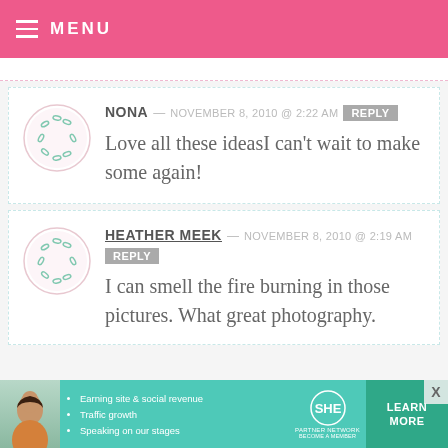MENU
NONA — NOVEMBER 8, 2010 @ 2:22 AM  REPLY
Love all these ideasI can't wait to make some again!
HEATHER MEEK — NOVEMBER 8, 2010 @ 2:19 AM  REPLY
I can smell the fire burning in those pictures. What great photography.
[Figure (infographic): SHE Partner Network advertisement banner with photo of woman, bullet points about earning site & social revenue, traffic growth, speaking on our stages, SHE logo, and LEARN MORE button]